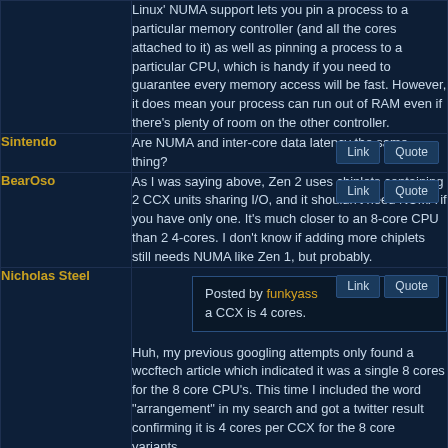Linux' NUMA support lets you pin a process to a particular memory controller (and all the cores attached to it) as well as pinning a process to a particular CPU, which is handy if you need to guarantee every memory access will be fast. However, it does mean your process can run out of RAM even if there's plenty of room on the other controller.
Sintendo: Are NUMA and inter-core data latency the same thing?
BearOso: As I was saying above, Zen 2 uses chiplets containing 2 CCX units sharing I/O, and it shouldn't need NUMA if you have only one. It's much closer to an 8-core CPU than 2 4-cores. I don't know if adding more chiplets still needs NUMA like Zen 1, but probably.
Nicholas Steel: Posted by funkyass — a CCX is 4 cores. Huh, my previous googling attempts only found a wccftech article which indicated it was a single 8 cores for the 8 core CPU's. This time I included the word "arrangement" in my search and got a twitter result confirming it is 4 cores per CCX for the 8 core variants. Ah well, so I've effectively got 2 really powerful 4 Core CPU's.
creaothceann: relevant LTT video just went up